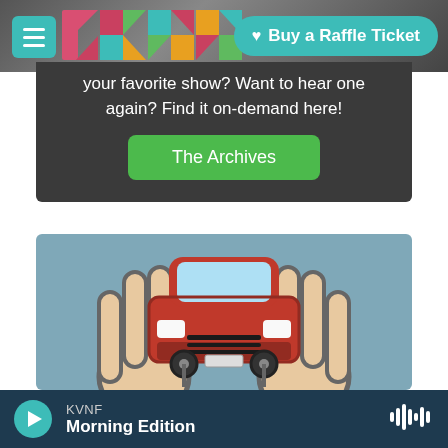KVNF | Buy a Raffle Ticket
your favorite show? Want to hear one again? Find it on-demand here!
The Archives
[Figure (illustration): Illustration of two hands holding a red car on a blue-grey background]
KVNF Morning Edition